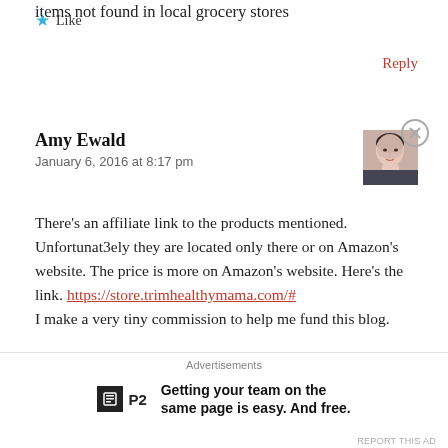items not found in local grocery stores
★ Like
Reply
Amy Ewald
January 6, 2016 at 8:17 pm
[Figure (photo): Small avatar photo of Amy Ewald, a woman with light skin and dark hair pulled back]
There's an affiliate link to the products mentioned. Unfortunat3ely they are located only there or on Amazon's website. The price is more on Amazon's website. Here's the link. https://store.trimhealthymama.com/# I make a very tiny commission to help me fund this blog.
Advertisements
Getting your team on the same page is easy. And free.